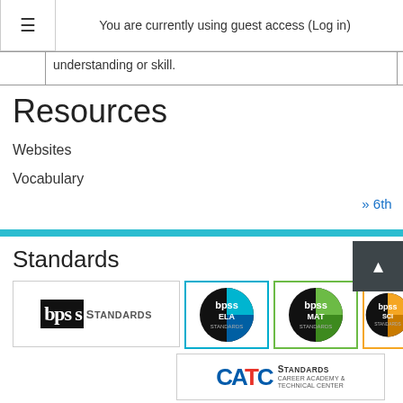You are currently using guest access (Log in)
|  | understanding or skill. |
Resources
Websites
Vocabulary
» 6th
Standards
[Figure (logo): BPSS Standards logo — black rectangle with 'bps' in bold white serif, 'Standards' in dark gray sans-serif]
[Figure (logo): BPSS ELA Standards circular logo — black circle with blue/teal quadrant, text 'bpss ELA standards']
[Figure (logo): BPSS MAT Standards circular logo — black circle with green quadrant, text 'bpss MAT standards']
[Figure (logo): BPSS SCI Standards circular logo — black circle with orange quadrant, text 'bpss SCI standards' (partially visible)]
[Figure (logo): CATC Standards logo — Career Academy & Technical Center, with CATC in blue/red letters and STANDARDS text]